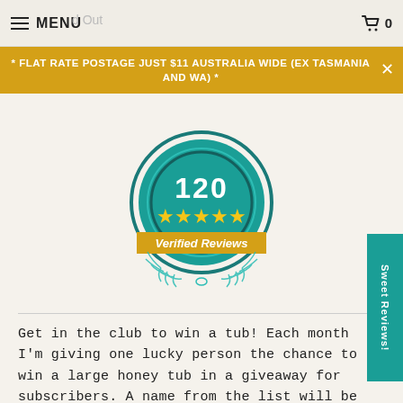MENU | 0
* FLAT RATE POSTAGE JUST $11 AUSTRALIA WIDE (EX TASMANIA AND WA) *
[Figure (illustration): A teal and gold badge showing '120' with five gold stars and a ribbon banner reading 'Verified Reviews'. The badge is circular with laurel wreath decorations at the bottom.]
Sweet Reviews!
Get in the club to win a tub! Each month I'm giving one lucky person the chance to win a large honey tub in a giveaway for subscribers. A name from the list will be drawn at the end of each month at random. Will you 'bee my friend' for this month?